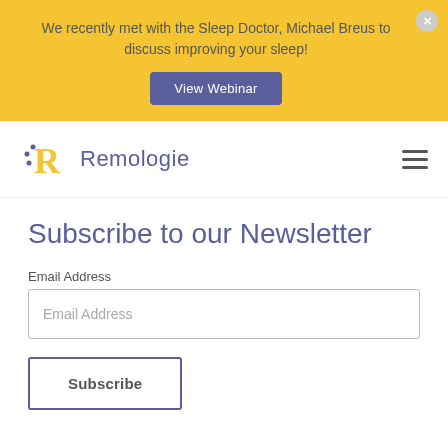We recently met with the Sleep Doctor, Michael Breus to discuss improving your sleep!
View Webinar
[Figure (logo): Remologie logo with stylized R in gold/yellow and purple text]
Subscribe to our Newsletter
Email Address
Subscribe